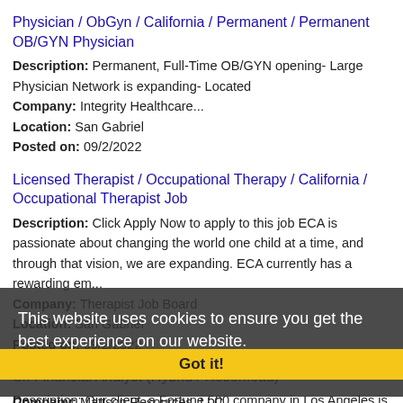Physician / ObGyn / California / Permanent / Permanent OB/GYN Physician
Description: Permanent, Full-Time OB/GYN opening- Large Physician Network is expanding- Located
Company: Integrity Healthcare...
Location: San Gabriel
Posted on: 09/2/2022
Licensed Therapist / Occupational Therapy / California / Occupational Therapist Job
Description: Click Apply Now to apply to this job ECA is passionate about changing the world one child at a time, and through that vision, we are expanding. ECA currently has a rewarding em...
Company: Therapist Job Board
Location: San Gabriel
Posted on: 09/2/2022
Sr. Financial Analyst (Hybrid / Rosemead)
Description: Our client, a Fortune 500 company in Los Angeles is
Company: Mattson Resources, LLC
Location: Rosemead
Posted on: 09/2/2022